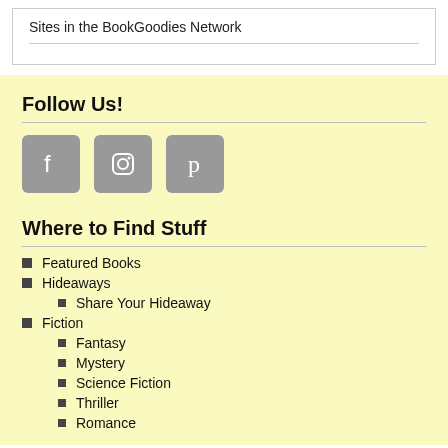Sites in the BookGoodies Network
Follow Us!
[Figure (infographic): Social media icons: Facebook, Instagram, Pinterest (grey rounded square buttons)]
Where to Find Stuff
Featured Books
Hideaways
Share Your Hideaway
Fiction
Fantasy
Mystery
Science Fiction
Thriller
Romance